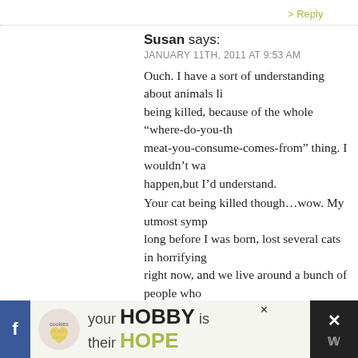> Reply
Susan says:
JANUARY 11TH, 2011 AT 9:53 AM
Ouch. I have a sort of understanding about animals li being killed, because of the whole “where-do-you-th meat-you-consume-comes-from” thing. I wouldn’t wa happen,but I’d understand.
Your cat being killed though…wow. My utmost symp long before I was born, lost several cats in horrifying right now, and we live around a bunch of people who cats. The idea of someone doing so much as injuring o sends me into an internal rage.
I’m very sorry that you have to have neighbors that m uncomfortable, to put it mildly.
> Reply
9.  The Other Dawn says:
[Figure (other): Advertisement banner: cookies for kid's cancer. Text reads 'your HOBBY is their HOPE']